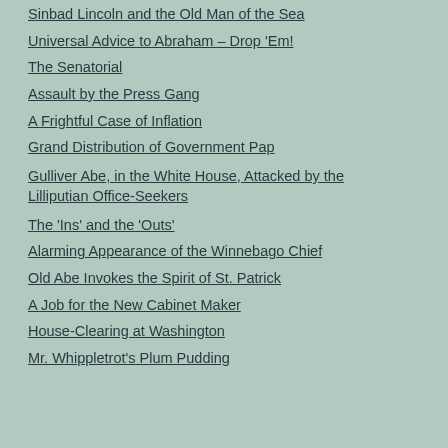Sinbad Lincoln and the Old Man of the Sea
Universal Advice to Abraham – Drop 'Em!
The Senatorial
Assault by the Press Gang
A Frightful Case of Inflation
Grand Distribution of Government Pap
Gulliver Abe, in the White House, Attacked by the Lilliputian Office-Seekers
The 'Ins' and the 'Outs'
Alarming Appearance of the Winnebago Chief
Old Abe Invokes the Spirit of St. Patrick
A Job for the New Cabinet Maker
House-Clearing at Washington
Mr. Whippletrot's Plum Pudding